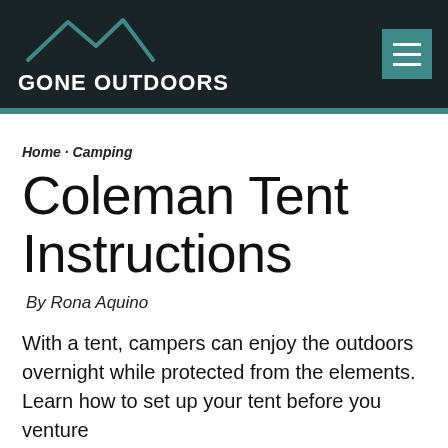GONE OUTDOORS
Home · Camping
Coleman Tent Instructions
By Rona Aquino
With a tent, campers can enjoy the outdoors overnight while protected from the elements. Learn how to set up your tent before you venture